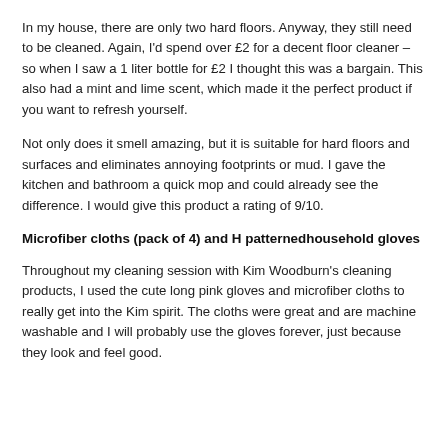In my house, there are only two hard floors. Anyway, they still need to be cleaned. Again, I'd spend over £2 for a decent floor cleaner – so when I saw a 1 liter bottle for £2 I thought this was a bargain. This also had a mint and lime scent, which made it the perfect product if you want to refresh yourself.
Not only does it smell amazing, but it is suitable for hard floors and surfaces and eliminates annoying footprints or mud. I gave the kitchen and bathroom a quick mop and could already see the difference. I would give this product a rating of 9/10.
Microfiber cloths (pack of 4) and H patternedhousehold gloves
Throughout my cleaning session with Kim Woodburn's cleaning products, I used the cute long pink gloves and microfiber cloths to really get into the Kim spirit. The cloths were great and are machine washable and I will probably use the gloves forever, just because they look and feel good.